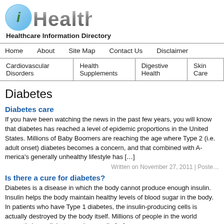[Figure (logo): iHealth logo with stylized 'i' in a circle and 'Health' in bold gray metallic text]
Healthcare Information Directory
Home | About | Site Map | Contact Us | Disclaimer
Cardiovascular Disorders | Health Supplements | Digestive Health | Skin Care
Diabetes
Diabetes care
If you have been watching the news in the past few years, you will know that diabetes has reached a level of epidemic proportions in the United States. Millions of Baby Boomers are reaching the age where Type 2 (i.e. adult onset) diabetes becomes a concern, and that combined with America's generally unhealthy lifestyle has [...]
Written on November 27, 2011 | Poste...
Is there a cure for diabetes?
Diabetes is a disease in which the body cannot produce enough insulin. Insulin helps the body maintain healthy levels of blood sugar in the body. In patients who have Type 1 diabetes, the insulin-producing cells is actually destroyed by the body itself. Millions of people in the world currently have diabetes and many die [...]
Written on January 17, 2011 | Poste...
Juvenile diabetes symptoms
Juvenile diabetes symptoms are important to know. Diabetes can cause serious complications...